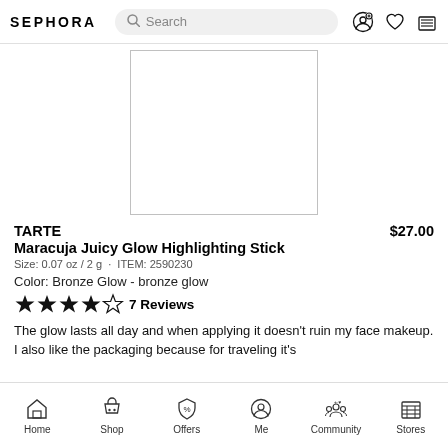SEPHORA  Search
[Figure (photo): Product image area — white rectangular box representing the Tarte Maracuja Juicy Glow Highlighting Stick product photo placeholder]
TARTE   $27.00
Maracuja Juicy Glow Highlighting Stick
Size: 0.07 oz / 2 g  ·  ITEM: 2590230
Color: Bronze Glow - bronze glow
★★★★☆  7 Reviews
The glow lasts all day and when applying it doesn't ruin my face makeup. I also like the packaging because for traveling it's
Home  Shop  Offers  Me  Community  Stores